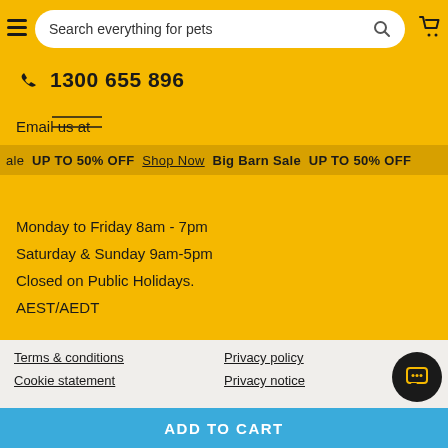[Figure (screenshot): Petbarn website header with yellow background, hamburger menu, search bar, and cart icon]
Search everything for pets
1300 655 896
Email us at
Big Barn Sale  UP TO 50% OFF  Shop Now  Big Barn Sale  UP TO 50% OFF
info@petbarn.com.au
Monday to Friday 8am - 7pm
Saturday & Sunday 9am-5pm
Closed on Public Holidays.
AEST/AEDT
Terms & conditions
Privacy policy
Cookie statement
Privacy notice
ADD TO CART